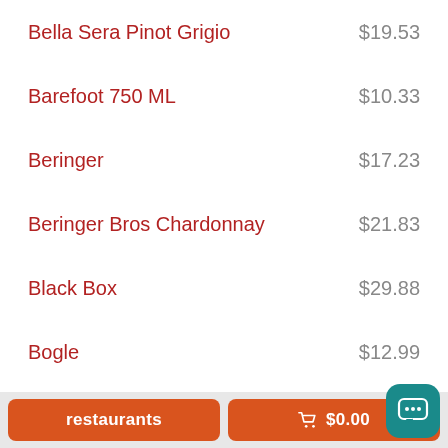Bella Sera Pinot Grigio  $19.53
Barefoot 750 ML  $10.33
Beringer  $17.23
Beringer Bros Chardonnay  $21.83
Black Box  $29.88
Bogle  $12.99
Bota Box
restaurants   🛒 $0.00